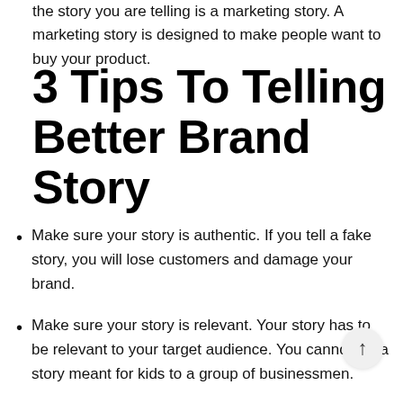the story you are telling is a marketing story. A marketing story is designed to make people want to buy your product.
3 Tips To Telling Better Brand Story
Make sure your story is authentic. If you tell a fake story, you will lose customers and damage your brand.
Make sure your story is relevant. Your story has to be relevant to your target audience. You cannot tell a story meant for kids to a group of businessmen.
Make sure your story is memorable. The best stories are the ones that stay with you. A story that is easy to forget has no value.